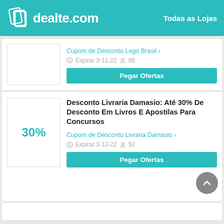dealte.com | Todas as Lojas
Cupom de Desconto Lego Brasil > Expirar 3-11-22  98
Pegar Ofertas
Desconto Livraria Damasio: Até 30% De Desconto Em Livros E Apostilas Para Concursos
Cupom de Desconto Livraria Damasio > Expirar 3-12-22  52
Pegar Ofertas